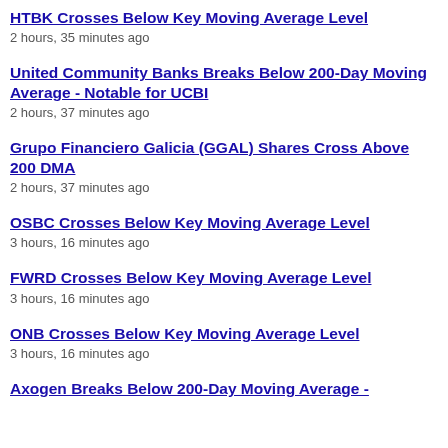HTBK Crosses Below Key Moving Average Level
2 hours, 35 minutes ago
United Community Banks Breaks Below 200-Day Moving Average - Notable for UCBI
2 hours, 37 minutes ago
Grupo Financiero Galicia (GGAL) Shares Cross Above 200 DMA
2 hours, 37 minutes ago
OSBC Crosses Below Key Moving Average Level
3 hours, 16 minutes ago
FWRD Crosses Below Key Moving Average Level
3 hours, 16 minutes ago
ONB Crosses Below Key Moving Average Level
3 hours, 16 minutes ago
Axogen Breaks Below 200-Day Moving Average -